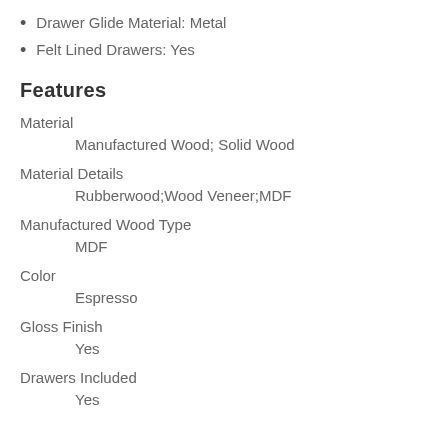Drawer Glide Material: Metal
Felt Lined Drawers: Yes
Features
Material
Manufactured Wood; Solid Wood
Material Details
Rubberwood;Wood Veneer;MDF
Manufactured Wood Type
MDF
Color
Espresso
Gloss Finish
Yes
Drawers Included
Yes